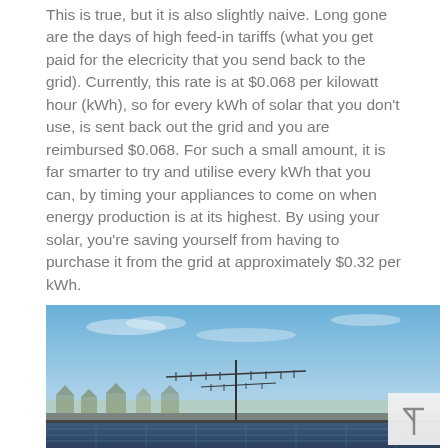This is true, but it is also slightly naive. Long gone are the days of high feed-in tariffs (what you get paid for the elecricity that you send back to the grid). Currently, this rate is at $0.068 per kilowatt hour (kWh), so for every kWh of solar that you don't use, is sent back out the grid and you are reimbursed $0.068. For such a small amount, it is far smarter to try and utilise every kWh that you can, by timing your appliances to come on when energy production is at its highest. By using your solar, you're saving yourself from having to purchase it from the grid at approximately $0.32 per kWh.
[Figure (photo): Photograph of a rooftop with solar panels visible at the bottom of the frame, a TV antenna in the middle, blue sky with light clouds, and a suburban neighborhood visible in the background.]